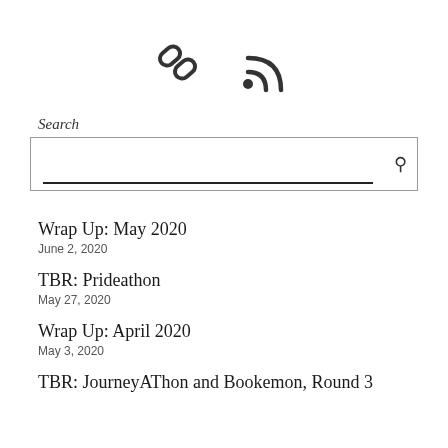[Figure (illustration): Two icons side by side: a chain/link icon on the left and an RSS feed icon on the right, both dark gray on white background]
Search
[Figure (other): Search input box with a bottom underline inside and a search (magnifying glass) icon on the right]
Wrap Up: May 2020
June 2, 2020
TBR: Prideathon
May 27, 2020
Wrap Up: April 2020
May 3, 2020
TBR: JourneyAThon and Bookemon, Round 3